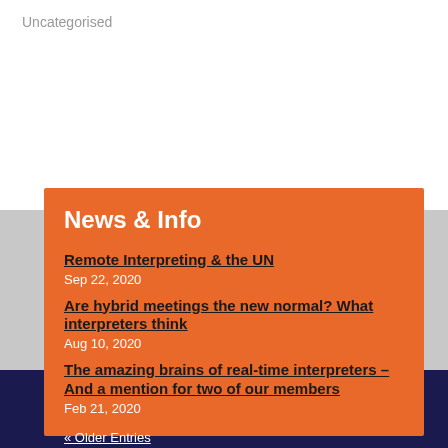Uncategorised
News & Info
Remote Interpreting & the UN
Sep 22, 2020
Are hybrid meetings the new normal? What interpreters think
Aug 10, 2020
The amazing brains of real-time interpreters – And a mention for two of our members
Feb 21, 2020
« Older Entries